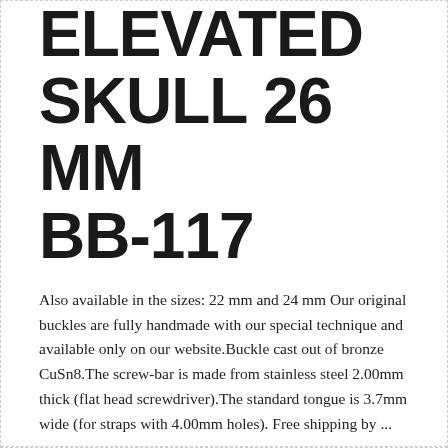ELEVATED SKULL 26 MM BB-117
Also available in the sizes: 22 mm and 24 mm Our original buckles are fully handmade with our special technique and available only on our website.Buckle cast out of bronze CuSn8.The screw-bar is made from stainless steel 2.00mm thick (flat head screwdriver).The standard tongue is 3.7mm wide (for straps with 4.00mm holes). Free shipping by ...
Continue reading